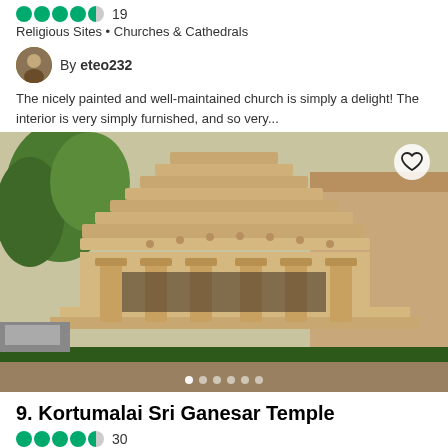[Figure (other): Rating stars: 4.5 out of 5 green dots]
19
Religious Sites • Churches & Cathedrals
By eteo232
The nicely painted and well-maintained church is simply a delight! The interior is very simply furnished, and so very...
[Figure (photo): Photo of Kortumalai Sri Ganesar Temple - a Hindu temple with ornate carved stone columns and decorative rooftop architecture, surrounded by trees and street scene]
9. Kortumalai Sri Ganesar Temple
[Figure (other): Rating stars: 4.5 out of 5 green dots]
30